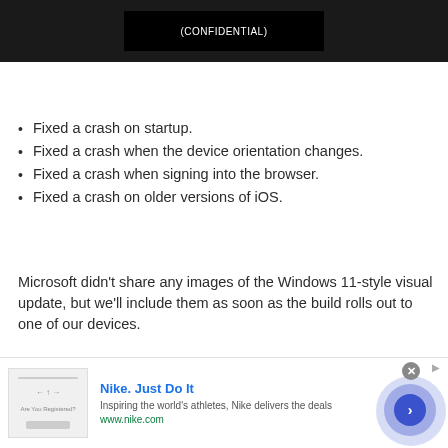[Figure (screenshot): Dark/black screenshot area at top of page with a black rectangle containing white text]
Fixed a crash on startup.
Fixed a crash when the device orientation changes.
Fixed a crash when signing into the browser.
Fixed a crash on older versions of iOS.
Microsoft didn't share any images of the Windows 11-style visual update, but we'll include them as soon as the build rolls out to one of our devices.
[Figure (screenshot): Advertisement banner for Nike with text 'Nike. Just Do It', 'Inspiring the world's athletes, Nike delivers the deals', 'www.nike.com', and a right-arrow navigation button]